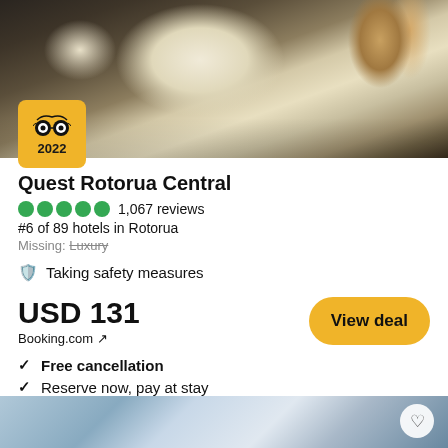[Figure (photo): Hotel room photo showing a bed with white pillows and olive/gold bedding, dark headboard, and lamps in the background. A TripAdvisor 2022 Travelers' Choice badge is overlaid in the bottom-left corner.]
Quest Rotorua Central
1,087 reviews
#6 of 89 hotels in Rotorua
Missing: Luxury
Taking safety measures
USD 131
Booking.com ↗
View deal
Free cancellation
Reserve now, pay at stay
View all 13 deals from USD 130
[Figure (photo): Partial view of another hotel exterior photo at the bottom of the page.]